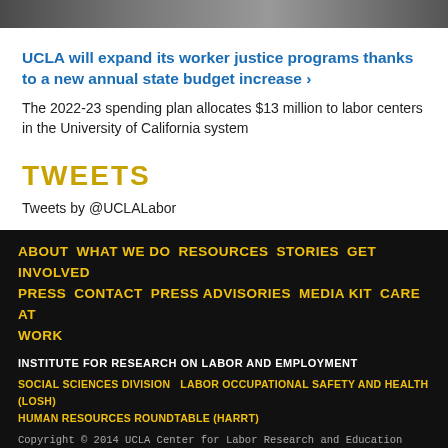[Figure (photo): Cropped photo banner at top of page showing people]
UCLA will expand its worker justice programs thanks to a new annual state budget increase ›
The 2022-23 spending plan allocates $13 million to labor centers in the University of California system
TWEETS
Tweets by @UCLALabor
ABOUT  WHAT WE DO  RESOURCES  STORIES  GET INVOLVED  PRESS  CONTACT  PRESS ADVISORIES  MEDIA KIT  CARE AT WORK
INSTITUTE FOR RESEARCH ON LABOR AND EMPLOYMENT
SOCIAL SCIENCES DIVISION    LABOR OCCUPATIONAL SAFETY AND HEALTH (LOSH)  HUMAN RESOURCES ROUNDTABLE (HARRT)
Copyright © 2014 UCLA Center for Labor Research and Education